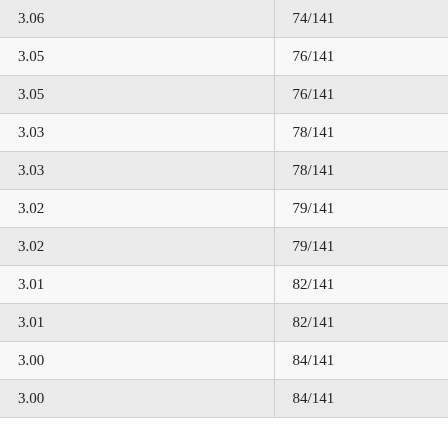| 3.06 | 74/141 |
| 3.05 | 76/141 |
| 3.05 | 76/141 |
| 3.03 | 78/141 |
| 3.03 | 78/141 |
| 3.02 | 79/141 |
| 3.02 | 79/141 |
| 3.01 | 82/141 |
| 3.01 | 82/141 |
| 3.00 | 84/141 |
| 3.00 | 84/141 |